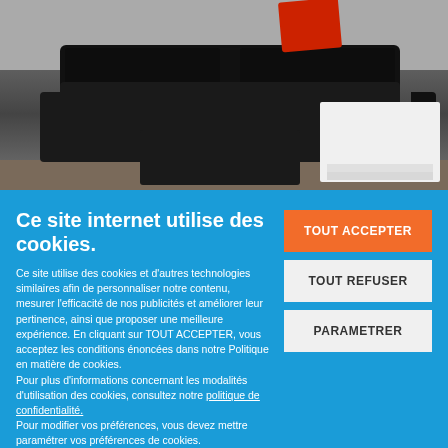[Figure (photo): Interior room photo showing a black leather sofa with a red pillow, a black ottoman/footrest, and a white coffee table on a tiled floor.]
Ce site internet utilise des cookies.
Ce site utilise des cookies et d'autres technologies similaires afin de personnaliser notre contenu, mesurer l'efficacité de nos publicités et améliorer leur pertinence, ainsi que proposer une meilleure expérience. En cliquant sur TOUT ACCEPTER, vous acceptez les conditions énoncées dans notre Politique en matière de cookies.
Pour plus d'informations concernant les modalités d'utilisation des cookies, consultez notre politique de confidentialité.
Pour modifier vos préférences, vous devez mettre paramétrer vos préférences de cookies.